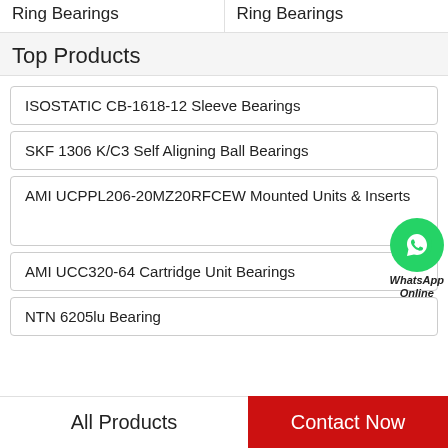Ring Bearings
Ring Bearings
Top Products
ISOSTATIC CB-1618-12 Sleeve Bearings
SKF 1306 K/C3 Self Aligning Ball Bearings
AMI UCPPL206-20MZ20RFCEW Mounted Units & Inserts
AMI UCC320-64 Cartridge Unit Bearings
NTN 6205lu Bearing
All Products
Contact Now